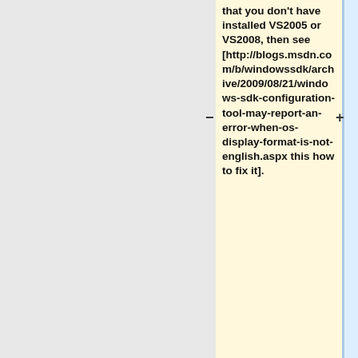that you don't have installed VS2005 or VS2008, then see [http://blogs.msdn.com/b/windowssdk/archive/2009/08/21/windows-sdk-configuration-tool-may-report-an-error-when-os-display-format-is-not-english.aspx this how to fix it].